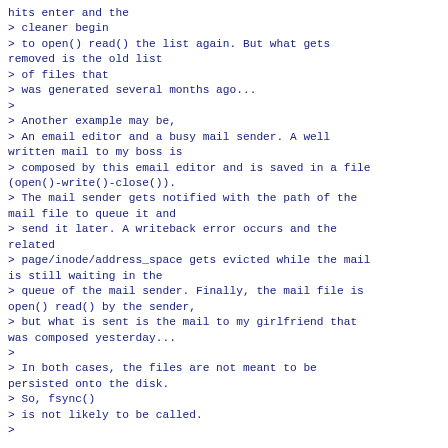hits enter and the
> cleaner begin
> to open() read() the list again. But what gets removed is the old list
> of files that
> was generated several months ago...
>
> Another example may be,
> An email editor and a busy mail sender. A well written mail to my boss is
> composed by this email editor and is saved in a file (open()-write()-close()).
> The mail sender gets notified with the path of the mail file to queue it and
> send it later. A writeback error occurs and the related
> page/inode/address_space gets evicted while the mail is still waiting in the
> queue of the mail sender. Finally, the mail file is open() read() by the sender,
> but what is sent is the mail to my girlfriend that was composed yesterday...
>
> In both cases, the files are not meant to be persisted onto the disk.
> So, fsync()
> is not likely to be called.
>

So at what point are you going to give up on keeping